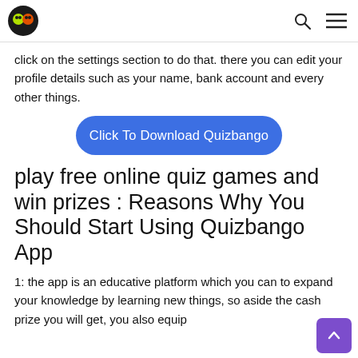[Logo] [Search icon] [Menu icon]
click on the settings section to do that. there you can edit your profile details such as your name, bank account and every other things.
[Figure (other): Blue rounded button labeled 'Click To Download Quizbango']
play free online quiz games and win prizes : Reasons Why You Should Start Using Quizbango App
1: the app is an educative platform which you can to expand your knowledge by learning new things, so aside the cash prize you will get, you also equip